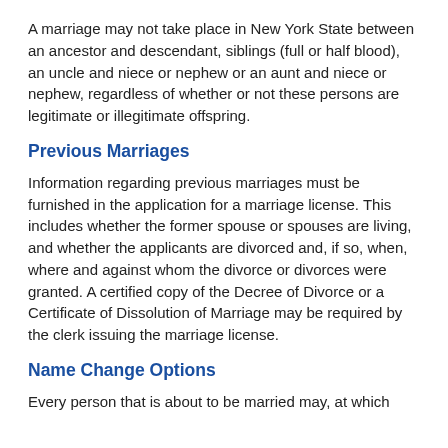A marriage may not take place in New York State between an ancestor and descendant, siblings (full or half blood), an uncle and niece or nephew or an aunt and niece or nephew, regardless of whether or not these persons are legitimate or illegitimate offspring.
Previous Marriages
Information regarding previous marriages must be furnished in the application for a marriage license. This includes whether the former spouse or spouses are living, and whether the applicants are divorced and, if so, when, where and against whom the divorce or divorces were granted. A certified copy of the Decree of Divorce or a Certificate of Dissolution of Marriage may be required by the clerk issuing the marriage license.
Name Change Options
Every person that is about to be married may, at which...